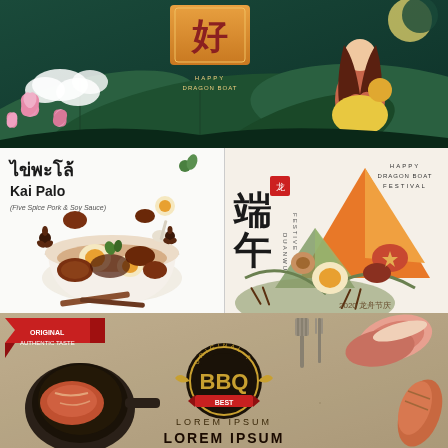[Figure (illustration): Happy Dragon Boat Festival illustration with Chinese character, lotus flowers, bamboo leaves, woman figure, and decorative clouds on dark green and orange background]
[Figure (illustration): Thai Kai Palo dish illustration - Five Spice Pork and Soy Sauce - showing a bowl with eggs, pork, spices, cinnamon sticks, star anise on white background with Thai and English text]
[Figure (illustration): Happy Dragon Boat Festival (端午 Duanwu) illustration with zongzi (rice dumplings), bamboo leaves, eggs, chopsticks, and text '2020 龙舟节' on cream background]
[Figure (illustration): BBQ food illustration on textured beige background with meat cuts, cooking pan, spatula, fork, and text 'ORIGINAL TEST BBQ', 'LOREM IPSUM' repeated]